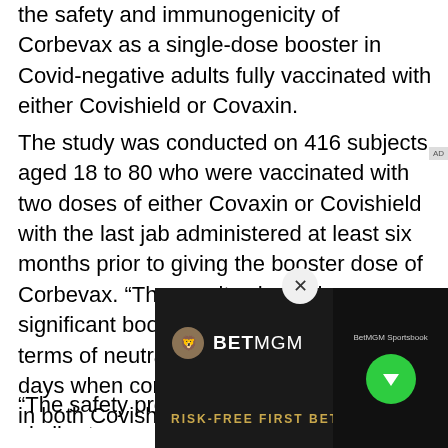the safety and immunogenicity of Corbevax as a single-dose booster in Covid-negative adults fully vaccinated with either Covishield or Covaxin.
The study was conducted on 416 subjects aged 18 to 80 who were vaccinated with two doses of either Covaxin or Covishield with the last jab administered at least six months prior to giving the booster dose of Corbevax. “The results showed a significant boost in immunogenicity in terms of neutralizing antibodies after 28 days when compared with placebo cohort in both Covishield and Covaxin arms.
“The safety profile of Corbevax was found similar to...
[Figure (screenshot): BetMGM advertisement banner with dark background showing the BetMGM lion logo, brand name, and 'RISK-FREE FIRST BET' tagline in gold text. Right side shows BetMGM Sportsbook label with a green circular download button.]